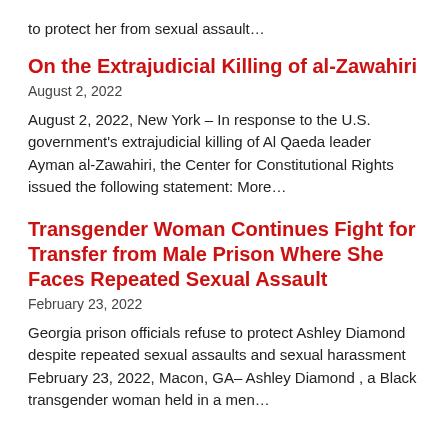to protect her from sexual assault…
On the Extrajudicial Killing of al-Zawahiri
August 2, 2022
August 2, 2022, New York – In response to the U.S. government's extrajudicial killing of Al Qaeda leader Ayman al-Zawahiri, the Center for Constitutional Rights issued the following statement: More…
Transgender Woman Continues Fight for Transfer from Male Prison Where She Faces Repeated Sexual Assault
February 23, 2022
Georgia prison officials refuse to protect Ashley Diamond despite repeated sexual assaults and sexual harassment February 23, 2022, Macon, GA– Ashley Diamond , a Black transgender woman held in a men…